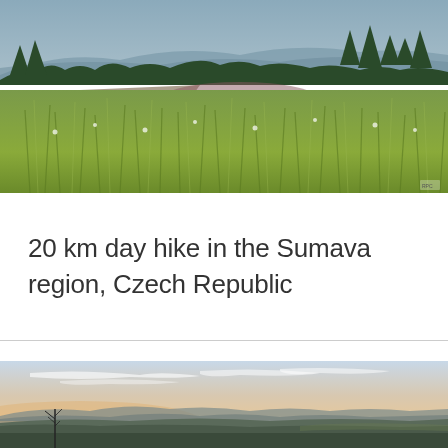[Figure (photo): Landscape photo of a mountain meadow with tall grasses and wildflowers in the foreground, fallen logs and sparse conifer trees in the middle ground, and distant mountain ridges under a hazy sky in the background. Czech Sumava region.]
20 km day hike in the Sumava region, Czech Republic
[Figure (photo): Panoramic landscape photo at dusk showing rolling hills and mountain ridges under a pastel sky with light cirrus clouds. A bare tree silhouette visible on the left. Czech Sumava region.]